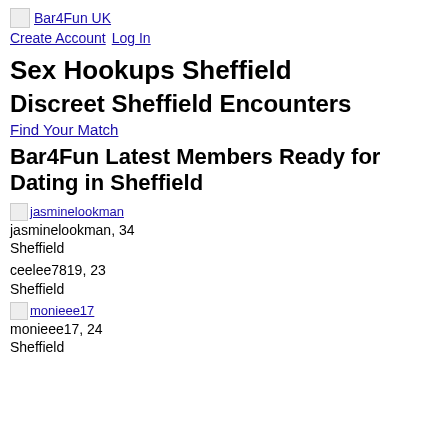Bar4Fun UK  Create Account  Log In
Sex Hookups Sheffield
Discreet Sheffield Encounters
Find Your Match
Bar4Fun Latest Members Ready for Dating in Sheffield
jasminelookman, 34
Sheffield
ceelee7819, 23
Sheffield
monieee17, 24
Sheffield